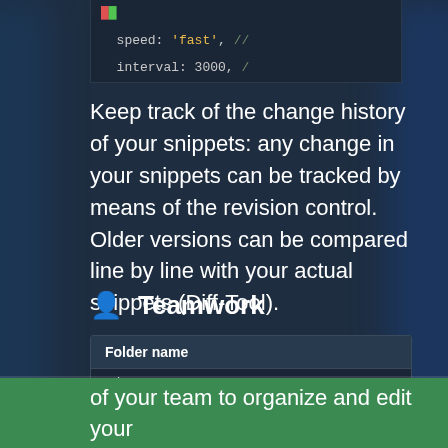[Figure (screenshot): Code editor screenshot showing 'speed: fast', // and 'interval: 3000, //' lines]
Keep track of the change history of your snippets: any change in your snippets can be tracked by means of the revision control. Older versions can be compared line by line with your actual snippets (Diff-Tool).
Teamwork
[Figure (screenshot): Folder sharing UI box with 'Folder name' header, 'jQuery' row, and 'Share this folder with other users' checkbox option]
This website uses cookies to ensure you get the best experience on our website.
Privacy Policy
Using my code stock.com you can share your folders with other users and members of your team to organize and edit your snipet-archive together. Furthermore you